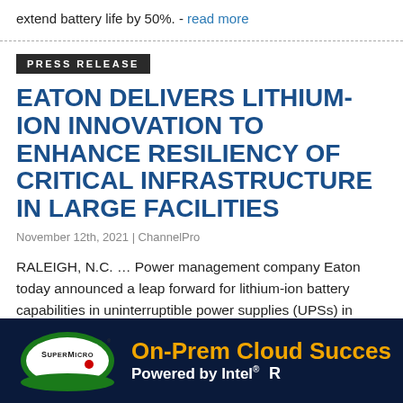extend battery life by 50%. - read more
PRESS RELEASE
EATON DELIVERS LITHIUM-ION INNOVATION TO ENHANCE RESILIENCY OF CRITICAL INFRASTRUCTURE IN LARGE FACILITIES
November 12th, 2021 | ChannelPro
RALEIGH, N.C. … Power management company Eaton today announced a leap forward for lithium-ion battery capabilities in uninterruptible power supplies (UPSs) in North America with the launch of its new LXR-B series
[Figure (logo): Supermicro logo with green oval and red dot, On-Prem Cloud Success ad powered by Intel]